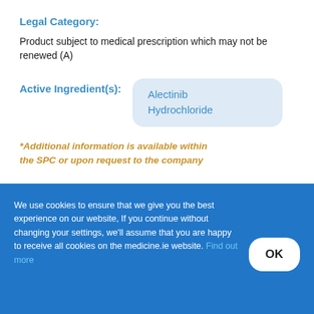Legal Category:
Product subject to medical prescription which may not be renewed (A)
Active Ingredient(s):
Alectinib Hydrochloride
*Additional information is available within the SPC or upon request to the company
We use cookies to ensure that we give you the best experience on our website, If you continue without changing your settings, we'll assume that you are happy to receive all cookies on the medicine.ie website. Find out more